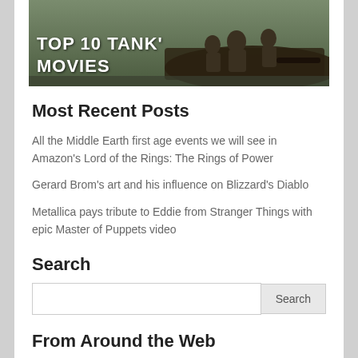[Figure (photo): Movie banner image with text 'TOP 10 TANK MOVIES' overlaid on a dark image of soldiers/military personnel on a tank]
Most Recent Posts
All the Middle Earth first age events we will see in Amazon's Lord of the Rings: The Rings of Power
Gerard Brom's art and his influence on Blizzard's Diablo
Metallica pays tribute to Eddie from Stranger Things with epic Master of Puppets video
Search
[Figure (screenshot): Search input box with Search button]
From Around the Web
[Figure (photo): Two thumbnail images partially visible at bottom of page]